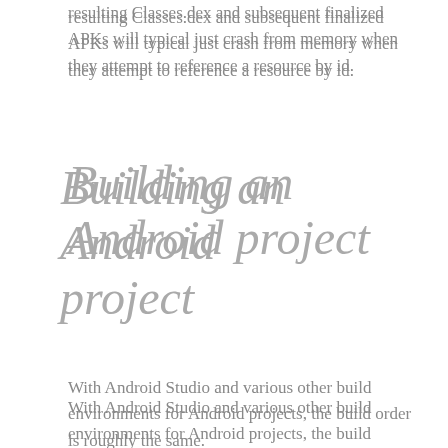resulting Classes.dex and subsequent finalized APKs will typical just crash from memory when they attempt to reference a resource by id.
Building an Android project
With Android Studio and various other build environments for Android projects, the build order is roughly the same.
Create R.JAVA class using AAPT.EXE (Android Asset Packaging Tool)
Compile your all code together and include the R.JAVA class using JAVAC.EXE
Create CLASSES.DEX using the DX tool.